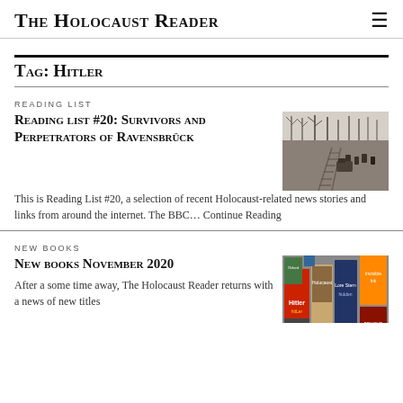The Holocaust Reader
Tag: Hitler
READING LIST
Reading list #20: Survivors and Perpetrators of Ravensbrück
[Figure (photo): Black and white historical photograph showing people near railway tracks in a winter scene with bare trees]
This is Reading List #20, a selection of recent Holocaust-related news stories and links from around the internet. The BBC… Continue Reading
NEW BOOKS
New books November 2020
[Figure (photo): Colorful collage of book covers related to the Holocaust including titles about Hitler and other subjects]
After a some time away, The Holocaust Reader returns with a news of new titles